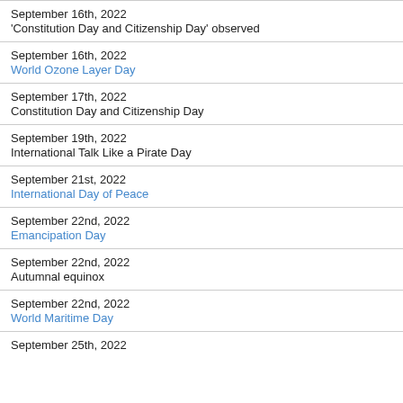September 16th, 2022
'Constitution Day and Citizenship Day' observed
September 16th, 2022
World Ozone Layer Day
September 17th, 2022
Constitution Day and Citizenship Day
September 19th, 2022
International Talk Like a Pirate Day
September 21st, 2022
International Day of Peace
September 22nd, 2022
Emancipation Day
September 22nd, 2022
Autumnal equinox
September 22nd, 2022
World Maritime Day
September 25th, 2022